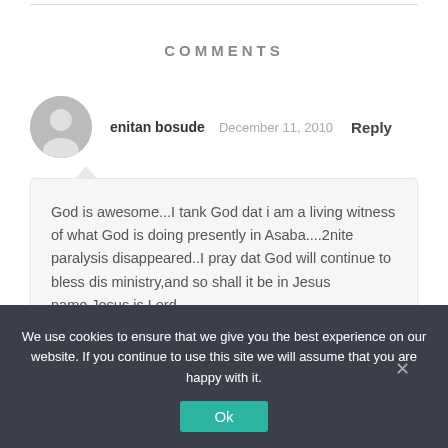COMMENTS
enitan bosude   December 11, 2010   Reply
God is awesome...I tank God dat i am a living witness of what God is doing presently in Asaba....2nite paralysis disappeared..I pray dat God will continue to bless dis ministry,and so shall it be in Jesus name.Jesus is Lord.
We use cookies to ensure that we give you the best experience on our website. If you continue to use this site we will assume that you are happy with it.